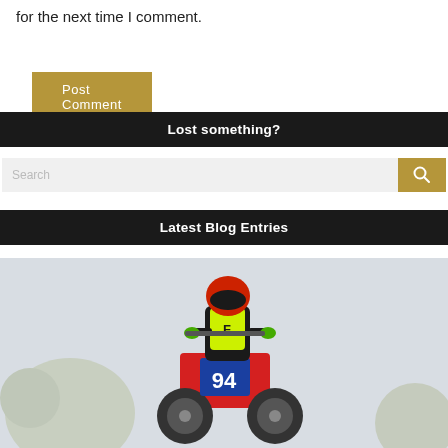for the next time I comment.
Post Comment
Lost something?
Search
Latest Blog Entries
[Figure (photo): Motocross rider wearing Fox Racing gear (neon green and black jersey) with race number 94 on a red Honda dirt bike, viewed from the front, against a pale sky with trees in the background.]